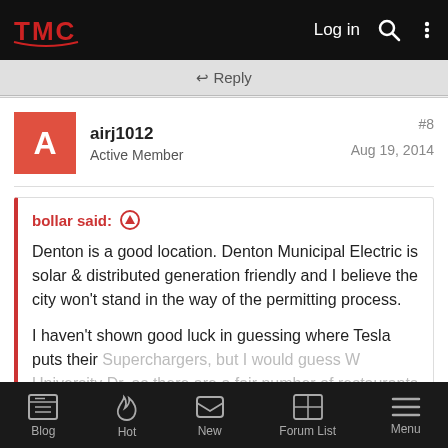TMC | Log in
↩ Reply
airj1012
Active Member
#8
Aug 19, 2014
bollar said: ↑

Denton is a good location. Denton Municipal Electric is solar & distributed generation friendly and I believe the city won't stand in the way of the permitting process.

I haven't shown good luck in guessing where Tesla puts their Superchargers, but I would guess W University Dr, as there are a fair number of restaurants and hotels there. It gets rural

Click to expand...
Blog | Hot | New | Forum List | Menu